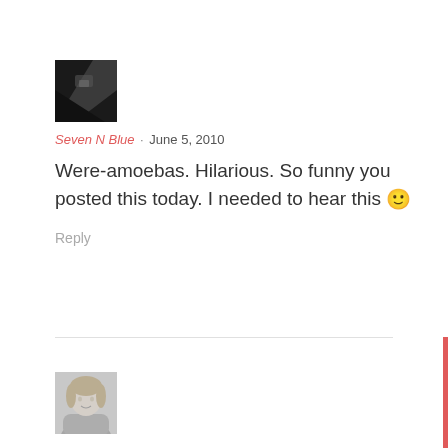[Figure (photo): Small square avatar thumbnail showing a dark angled photo]
Seven N Blue · June 5, 2010
Were-amoebas. Hilarious. So funny you posted this today. I needed to hear this 🙂
Reply
[Figure (photo): Small square avatar thumbnail showing a woman smiling, black and white photo]